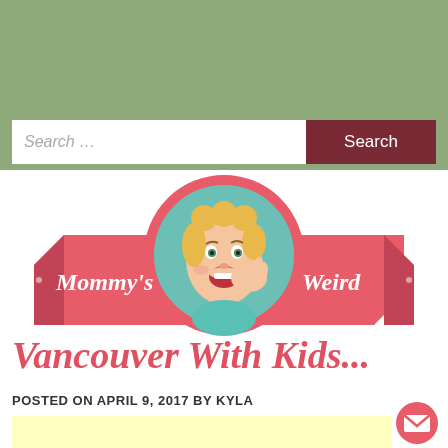Mommy's Weird
Vancouver With Kids...
POSTED ON APRIL 9, 2017 BY KYLA